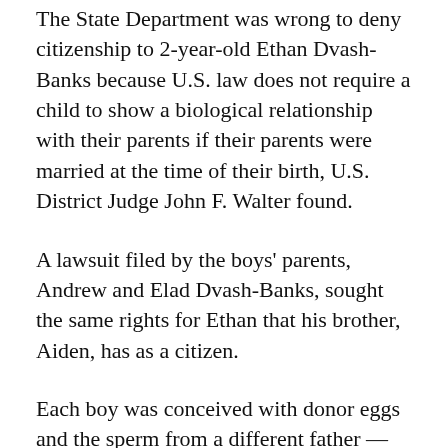The State Department was wrong to deny citizenship to 2-year-old Ethan Dvash-Banks because U.S. law does not require a child to show a biological relationship with their parents if their parents were married at the time of their birth, U.S. District Judge John F. Walter found.
A lawsuit filed by the boys' parents, Andrew and Elad Dvash-Banks, sought the same rights for Ethan that his brother, Aiden, has as a citizen.
Each boy was conceived with donor eggs and the sperm from a different father — one an American, the other an Israeli citizen — but born by the same surrogate mother minutes apart.
The government had granted citizenship only to